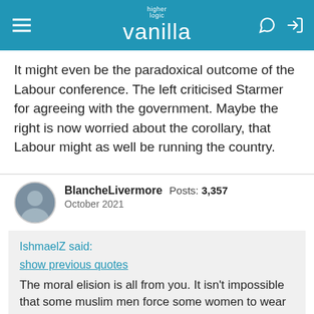higher logic vanilla
It might even be the paradoxical outcome of the Labour conference. The left criticised Starmer for agreeing with the government. Maybe the right is now worried about the corollary, that Labour might as well be running the country.
BlancheLivermore  Posts: 3,357  October 2021
IshmaelZ said: show previous quotes The moral elision is all from you. It isn't impossible that some muslim men force some women to wear burqas against their will, but